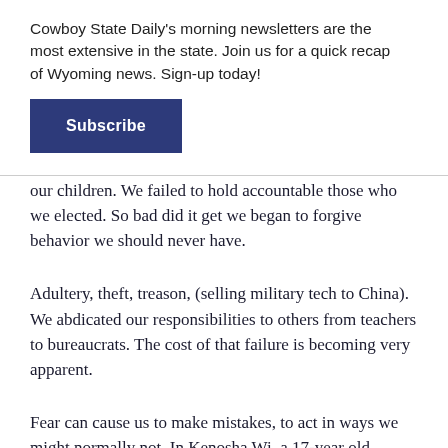Cowboy State Daily's morning newsletters are the most extensive in the state. Join us for a quick recap of Wyoming news. Sign-up today!
Subscribe
our children. We failed to hold accountable those who we elected. So bad did it get we began to forgive behavior we should never have.
Adultery, theft, treason, (selling military tech to China). We abdicated our responsibilities to others from teachers to bureaucrats. The cost of that failure is becoming very apparent.
Fear can cause us to make mistakes, to act in ways we might normally not. In Kenosha Wi. a 17-year old defending his neighborhood shoots two protestors.